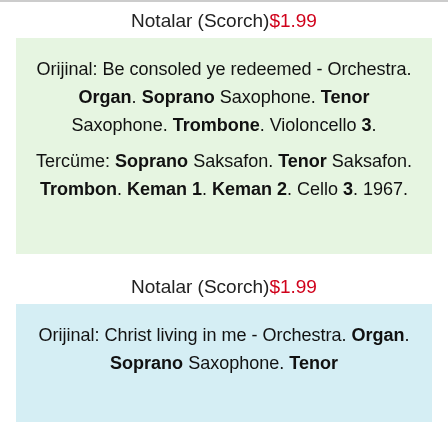Notalar (Scorch)$1.99
Orijinal: Be consoled ye redeemed - Orchestra. Organ. Soprano Saxophone. Tenor Saxophone. Trombone. Violoncello 3. Tercüme: Soprano Saksafon. Tenor Saksafon. Trombon. Keman 1. Keman 2. Cello 3. 1967.
Notalar (Scorch)$1.99
Orijinal: Christ living in me - Orchestra. Organ. Soprano Saxophone. Tenor